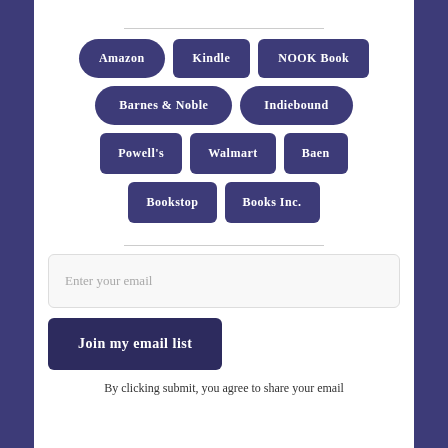[Figure (infographic): A grid of retailer/bookstore buttons with dark navy background color. Row 1: Amazon (pill), Kindle (rect), NOOK Book (rect). Row 2: Barnes & Noble (pill), Indiebound (pill). Row 3: Powell's (rect), Walmart (rect), Baen (rect). Row 4: Bookstop (rect), Books Inc. (rect).]
Enter your email
Join my email list
By clicking submit, you agree to share your email